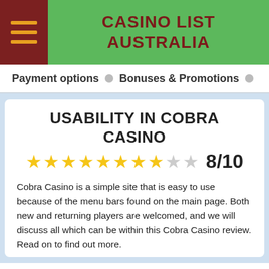CASINO LIST AUSTRALIA
Payment options  •  Bonuses & Promotions  •
USABILITY IN COBRA CASINO
8/10
Cobra Casino is a simple site that is easy to use because of the menu bars found on the main page. Both new and returning players are welcomed, and we will discuss all which can be within this Cobra Casino review. Read on to find out more.
One of the main things, when you arrive on the homepage, may be the Cobra Casino bonus offer. This scrolls past clearly to be able to see what is waiting for you. Other main features accessible out of this main page